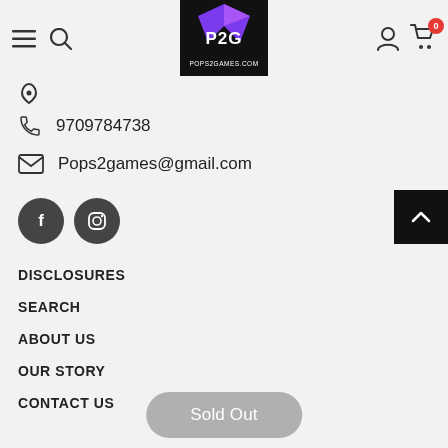P2G POPS2GAMES.COM navigation header with hamburger menu, search, logo, user icon, and cart (0)
9709784738
Pops2games@gmail.com
[Figure (logo): Facebook and Instagram social media icon buttons (dark grey circles)]
DISCLOSURES
SEARCH
ABOUT US
OUR STORY
CONTACT US
Sold Out